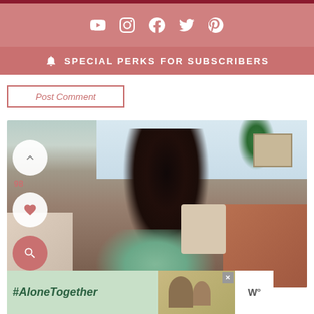Social media icons: YouTube, Instagram, Facebook, Twitter, Pinterest
SPECIAL PERKS FOR SUBSCRIBERS
Post Comment
[Figure (photo): A smiling Black woman with long dark hair wearing a mint green top, sitting on a couch with orange and beige pillows, green plant in background, home setting]
98
[Figure (infographic): Advertisement banner: #AloneTogether text on mint green background with photo of father and daughter waving]
#AloneTogether